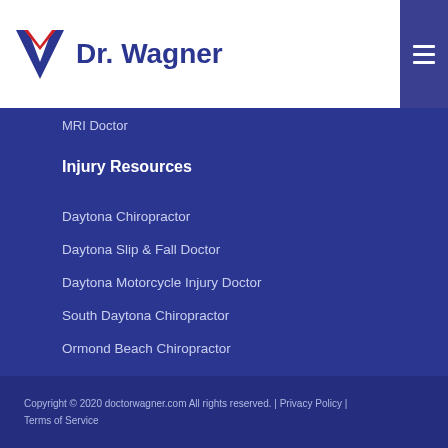Dr. Wagner
MRI Doctor
Injury Resources
Daytona Chiropractor
Daytona Slip & Fall Doctor
Daytona Motorcycle Injury Doctor
South Daytona Chiropractor
Ormond Beach Chiropractor
Daytona X-ray & MRI Imaging
Copyright © 2020 doctorwagner.com All rights reserved. | Privacy Policy | Terms of Service